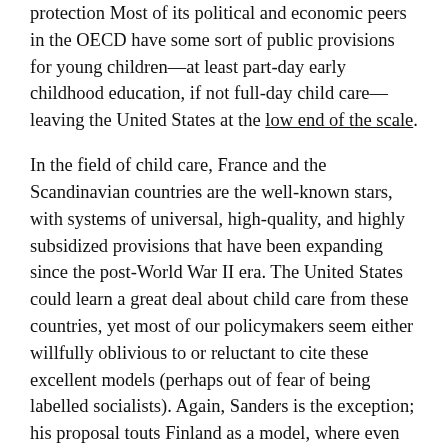protection Most of its political and economic peers in the OECD have some sort of public provisions for young children—at least part-day early childhood education, if not full-day child care—leaving the United States at the low end of the scale.
In the field of child care, France and the Scandinavian countries are the well-known stars, with systems of universal, high-quality, and highly subsidized provisions that have been expanding since the post-World War II era. The United States could learn a great deal about child care from these countries, yet most of our policymakers seem either willfully oblivious to or reluctant to cite these excellent models (perhaps out of fear of being labelled socialists). Again, Sanders is the exception; his proposal touts Finland as a model, where even the wealthiest parents pay only $300 a month for child care (whereas for American parents, the average fee is $1,000 per month per child).
To be sure, the political cultures and associated histories of welfare state development in these model nations differ markedly from those of the United States, but their trajectories may be converging. Child care experts